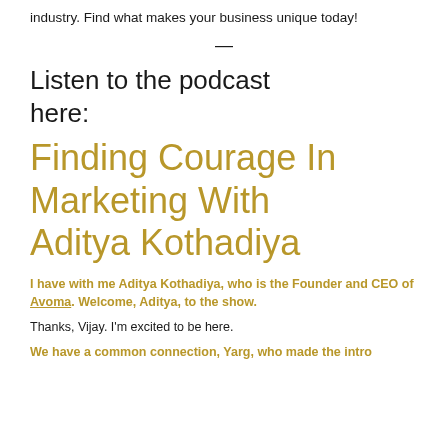industry. Find what makes your business unique today!
—
Listen to the podcast here:
Finding Courage In Marketing With Aditya Kothadiya
I have with me Aditya Kothadiya, who is the Founder and CEO of Avoma. Welcome, Aditya, to the show.
Thanks, Vijay. I'm excited to be here.
We have a common connection, Yarg, who made the intro